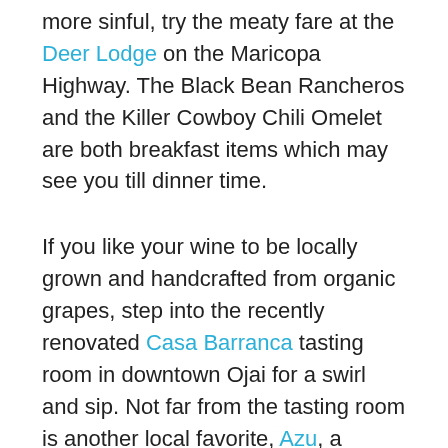more sinful, try the meaty fare at the Deer Lodge on the Maricopa Highway. The Black Bean Rancheros and the Killer Cowboy Chili Omelet are both breakfast items which may see you till dinner time.
If you like your wine to be locally grown and handcrafted from organic grapes, step into the recently renovated Casa Barranca tasting room in downtown Ojai for a swirl and sip. Not far from the tasting room is another local favorite, Azu, a Spanish Tapas Bar offering succulent Gambas (whole prawns sautéed in olive oil, garlic and white wine) and Lamb Kabobs among other things. Their homemade gelato has seasonal